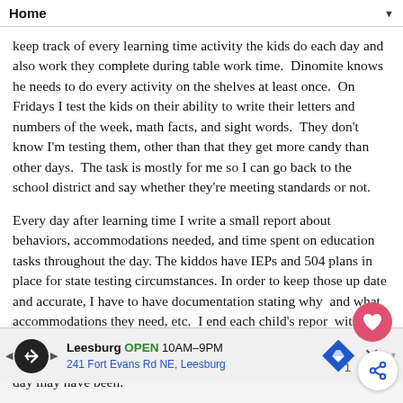Home
keep track of every learning time activity the kids do each day and also work they complete during table work time.  Dinomite knows he needs to do every activity on the shelves at least once.  On Fridays I test the kids on their ability to write their letters and numbers of the week, math facts, and sight words.  They don't know I'm testing them, other than that they get more candy than other days.  The task is mostly for me so I can go back to the school district and say whether they're meeting standards or not.
Every day after learning time I write a small report about behaviors, accommodations needed, and time spent on education tasks throughout the day. The kiddos have IEPs and 504 plans in place for state testing circumstances. In order to keep those up date and accurate, I have to have documentation stating why  and what accommodations they need, etc.  I end each child's report with a "Best Moment of the Day" so I make sure the day ends on a positive note and I see success in each and every child, no matter how hard the day may have been.